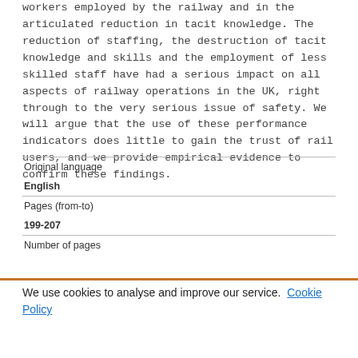workers employed by the railway and in the articulated reduction in tacit knowledge. The reduction of staffing, the destruction of tacit knowledge and skills and the employment of less skilled staff have had a serious impact on all aspects of railway operations in the UK, right through to the very serious issue of safety. We will argue that the use of these performance indicators does little to gain the trust of rail users, and we provide empirical evidence to confirm these findings.
| Original language |  |
| English |  |
| Pages (from-to) |  |
| 199-207 |  |
| Number of pages |  |
We use cookies to analyse and improve our service. Cookie Policy